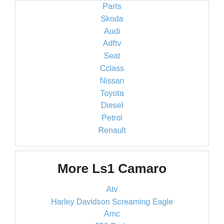Parts
Skoda
Audi
Adftv
Seat
Cclass
Nissan
Toyota
Diesel
Petrol
Renault
More Ls1 Camaro
Atv
Harley Davidson Screaming Eagle
Amc
350 Rods
Mustang Transmissions
Land Rover Salvage